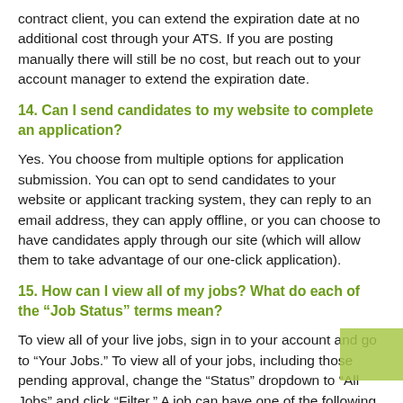contract client, you can extend the expiration date at no additional cost through your ATS. If you are posting manually there will still be no cost, but reach out to your account manager to extend the expiration date.
14. Can I send candidates to my website to complete an application?
Yes. You choose from multiple options for application submission. You can opt to send candidates to your website or applicant tracking system, they can reply to an email address, they can apply offline, or you can choose to have candidates apply through our site (which will allow them to take advantage of our one-click application).
15. How can I view all of my jobs? What do each of the “Job Status” terms mean?
To view all of your live jobs, sign in to your account and go to “Your Jobs.” To view all of your jobs, including those pending approval, change the “Status” dropdown to “All Jobs” and click “Filter.” A job can have one of the following statuses:
• Live: This is the status of the job when it is available and...